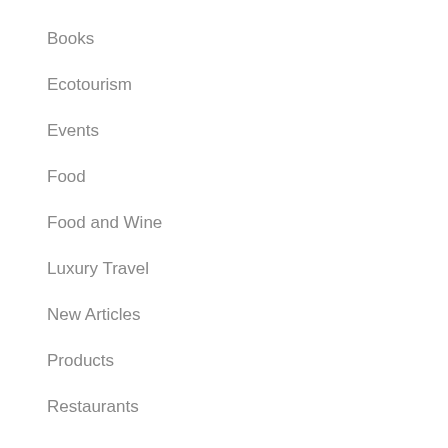Books
Ecotourism
Events
Food
Food and Wine
Luxury Travel
New Articles
Products
Restaurants
Restaurants and Food
Safari/Game viewing
Spas